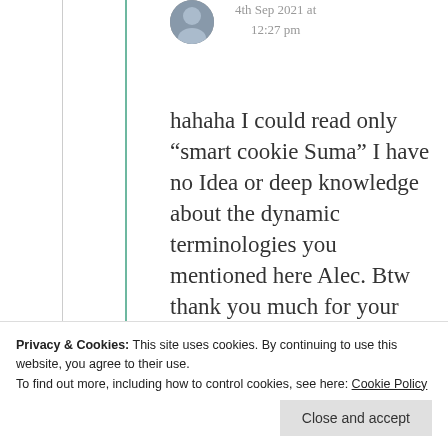4th Sep 2021 at 12:27 pm
hahaha I could read only “smart cookie Suma” I have no Idea or deep knowledge about the dynamic terminologies you mentioned here Alec. Btw thank you much for your time n sorry for
Privacy & Cookies: This site uses cookies. By continuing to use this website, you agree to their use.
To find out more, including how to control cookies, see here: Cookie Policy
Close and accept